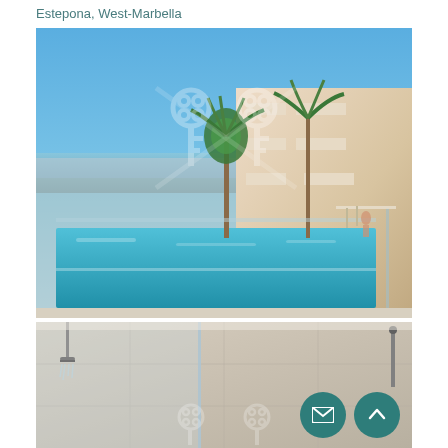Estepona, West-Marbella
[Figure (photo): Aerial/elevated view of luxury residential complex with infinity pool, palm trees, sea view in background, modern white buildings on right. Watermark of crossed keys overlay visible.]
[Figure (photo): Interior view of modern bathroom with glass shower enclosure, stone/marble tile walls, shower fixture visible. Watermark overlay at bottom. Two circular dark teal floating action buttons (email and scroll-up) visible in bottom right.]